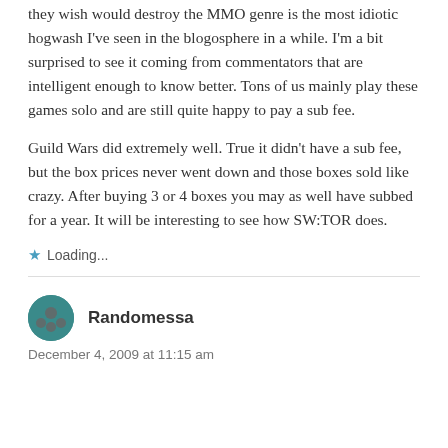they wish would destroy the MMO genre is the most idiotic hogwash I've seen in the blogosphere in a while. I'm a bit surprised to see it coming from commentators that are intelligent enough to know better. Tons of us mainly play these games solo and are still quite happy to pay a sub fee.
Guild Wars did extremely well. True it didn't have a sub fee, but the box prices never went down and those boxes sold like crazy. After buying 3 or 4 boxes you may as well have subbed for a year. It will be interesting to see how SW:TOR does.
★ Loading...
Randomessa
December 4, 2009 at 11:15 am